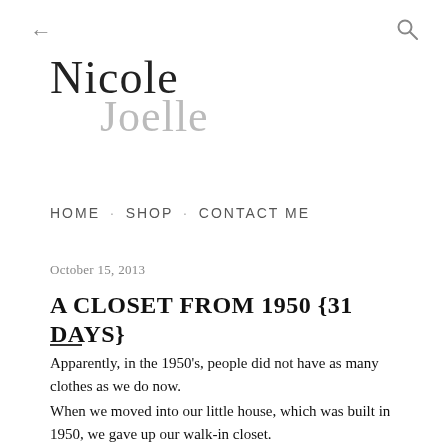← (back) | (search icon)
[Figure (logo): Nicole Joelle blog logo in cursive script, 'Nicole' in dark ink and 'Joelle' in light gray]
HOME · SHOP · CONTACT ME
October 15, 2013
A CLOSET FROM 1950 {31 DAYS}
Apparently, in the 1950's, people did not have as many clothes as we do now.
When we moved into our little house, which was built in 1950, we gave up our walk-in closet.